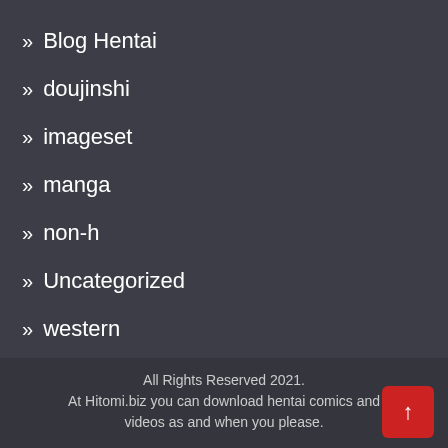» Blog Hentai
» doujinshi
» imageset
» manga
» non-h
» Uncategorized
» western
All Rights Reserved 2021.
At Hitomi.biz you can download hentai comics and videos as and when you please.